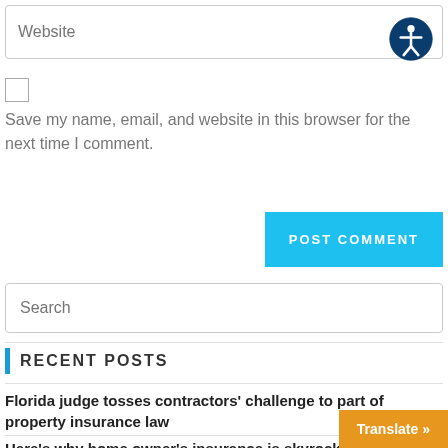Website
Save my name, email, and website in this browser for the next time I comment.
POST COMMENT
Search
RECENT POSTS
Florida judge tosses contractors' challenge to part of property insurance law
Here's why home owner's insurance is skyrocket…
Translate »